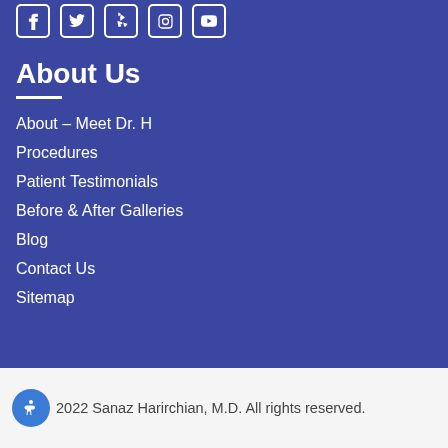[Figure (infographic): Social media icons row: Facebook, Twitter, Yelp, Instagram, YouTube — white icons on blue background]
About Us
About – Meet Dr. H
Procedures
Patient Testimonials
Before & After Galleries
Blog
Contact Us
Sitemap
2022 Sanaz Harirchian, M.D. All rights reserved.